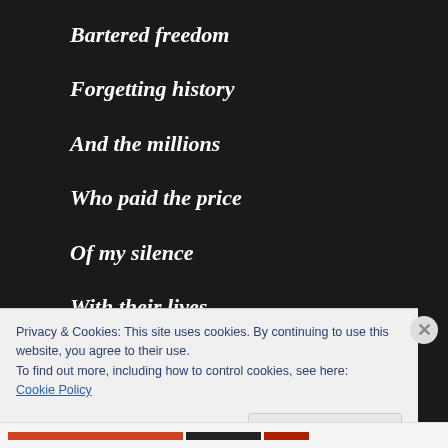Bartered freedom
Forgetting history
And the millions
Who paid the price
Of my silence
With their lives
Privacy & Cookies: This site uses cookies. By continuing to use this website, you agree to their use.
To find out more, including how to control cookies, see here:
Cookie Policy
Close and accept